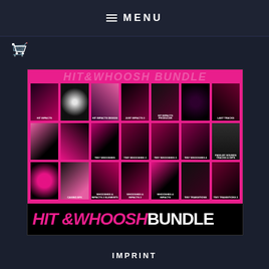≡ MENU
[Figure (illustration): Shopping cart icon]
[Figure (illustration): Hit & Whoosh Bundle promotional image showing a grid of album/product covers on a magenta/pink background. Top shows faded title text. Grid contains 21 thumbnail images arranged in 3 rows of 7. Bottom banner reads HIT &WHOOSH BUNDLE in large bold text.]
IMPRINT